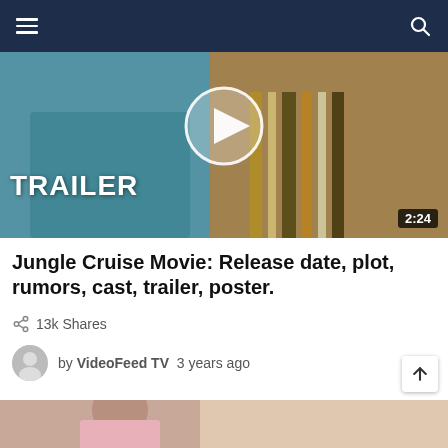Navigation bar with menu and search icons
[Figure (screenshot): Movie trailer thumbnail showing two actors with play button overlay, text 'TRAILER' in bold white, duration badge '2:24' in bottom-right corner]
Jungle Cruise Movie: Release date, plot, rumors, cast, trailer, poster.
13k Shares
by VideoFeed TV  3 years ago
[Figure (photo): Photo of a young woman in a pink top, partially visible at bottom of page]